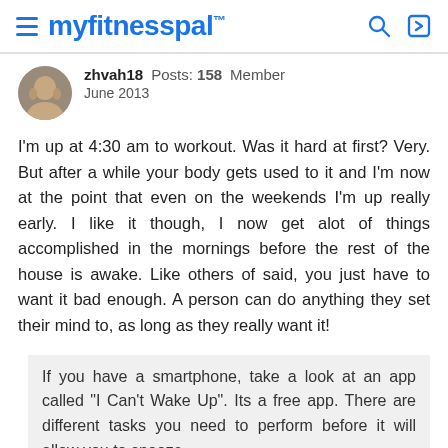myfitnesspal
zhvah18  Posts: 158  Member
June 2013
I'm up at 4:30 am to workout. Was it hard at first? Very. But after a while your body gets used to it and I'm now at the point that even on the weekends I'm up really early. I like it though, I now get alot of things accomplished in the mornings before the rest of the house is awake. Like others of said, you just have to want it bad enough. A person can do anything they set their mind to, as long as they really want it!
If you have a smartphone, take a look at an app called "I Can't Wake Up". Its a free app. There are different tasks you need to perform before it will allow you to snooze